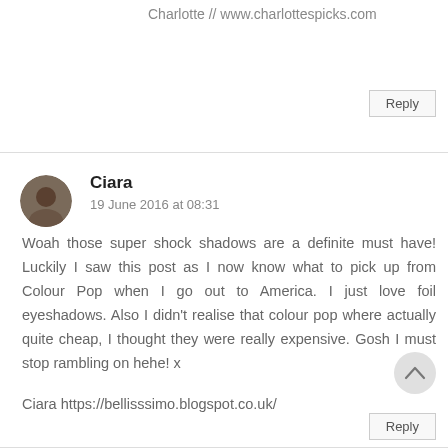Charlotte // www.charlottespicks.com
Reply
Ciara
19 June 2016 at 08:31
Woah those super shock shadows are a definite must have! Luckily I saw this post as I now know what to pick up from Colour Pop when I go out to America. I just love foil eyeshadows. Also I didn't realise that colour pop where actually quite cheap, I thought they were really expensive. Gosh I must stop rambling on hehe! x
Ciara https://bellisssimo.blogspot.co.uk/
Reply